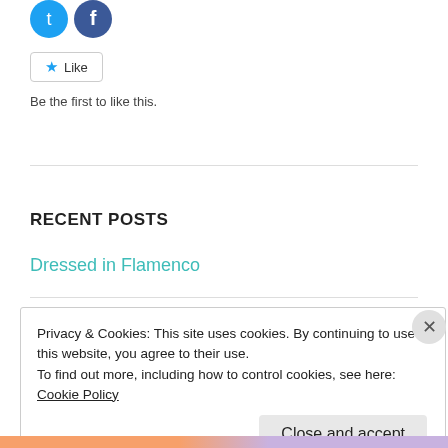[Figure (other): Social media share icons: Twitter (blue bird circle) and Facebook (blue F circle)]
[Figure (other): Like button with star icon and 'Like' text, bordered rounded rectangle]
Be the first to like this.
RECENT POSTS
Dressed in Flamenco
Privacy & Cookies: This site uses cookies. By continuing to use this website, you agree to their use.
To find out more, including how to control cookies, see here: Cookie Policy
Close and accept